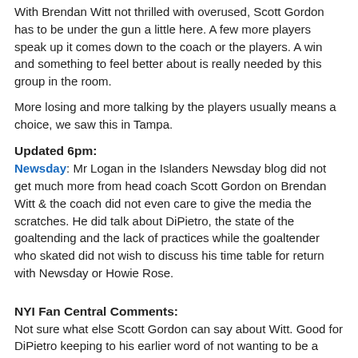With Brendan Witt not thrilled with overused, Scott Gordon has to be under the gun a little here. A few more players speak up it comes down to the coach or the players. A win and something to feel better about is really needed by this group in the room.
More losing and more talking by the players usually means a choice, we saw this in Tampa.
Updated 6pm:
Newsday: Mr Logan in the Islanders Newsday blog did not get much more from head coach Scott Gordon on Brendan Witt & the coach did not even care to give the media the scratches. He did talk about DiPietro, the state of the goaltending and the lack of practices while the goaltender who skated did not wish to discuss his time table for return with Newsday or Howie Rose.
NYI Fan Central Comments:
Not sure what else Scott Gordon can say about Witt. Good for DiPietro keeping to his earlier word of not wanting to be a distraction. Any surprise Mr Logan will have comments from